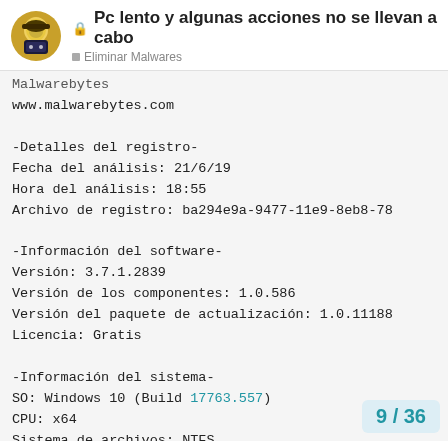Pc lento y algunas acciones no se llevan a cabo — Eliminar Malwares
Malwarebytes
www.malwarebytes.com

-Detalles del registro-
Fecha del análisis: 21/6/19
Hora del análisis: 18:55
Archivo de registro: ba294e9a-9477-11e9-8eb8-78...

-Información del software-
Versión: 3.7.1.2839
Versión de los componentes: 1.0.586
Versión del paquete de actualización: 1.0.11188...
Licencia: Gratis

-Información del sistema-
SO: Windows 10 (Build 17763.557)
CPU: x64
Sistema de archivos: NTFS
Usuario: ABSENTPPC\Absent
9 / 36